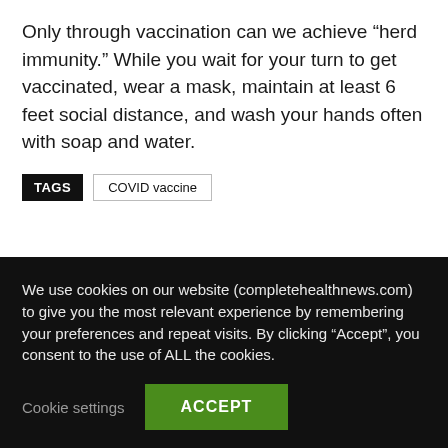Only through vaccination can we achieve “herd immunity.” While you wait for your turn to get vaccinated, wear a mask, maintain at least 6 feet social distance, and wash your hands often with soap and water.
TAGS   COVID vaccine
We use cookies on our website (completehealthnews.com) to give you the most relevant experience by remembering your preferences and repeat visits. By clicking “Accept”, you consent to the use of ALL the cookies.
Cookie settings   ACCEPT